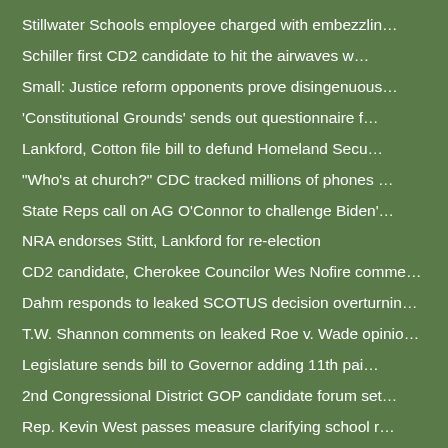Stillwater Schools employee charged with embezzlin…
Schiller first CD2 candidate to hit the airwaves w…
Small: Justice reform opponents prove disingenuous…
'Constitutional Grounds' sends out questionnaire f…
Lankford, Cotton file bill to defund Homeland Secu…
"Who's at church?" CDC tracked millions of phones …
State Reps call on AG O'Connor to challenge Biden'…
NRA endorses Stitt, Lankford for re-election
CD2 candidate, Cherokee Councilor Wes Nofire comme…
Dahm responds to leaked SCOTUS decision overturnin…
T.W. Shannon comments on leaked Roe v. Wade opinio…
Legislature sends bill to Governor adding 11th pai…
2nd Congressional District GOP candidate forum set…
Rep. Kevin West passes measure clarifying school r…
Stitt breaks reelection fundraising record with $1…
Speaker McCall comments on reported overturning of…
Eagle Forum PAC endorses Dahm for Senate